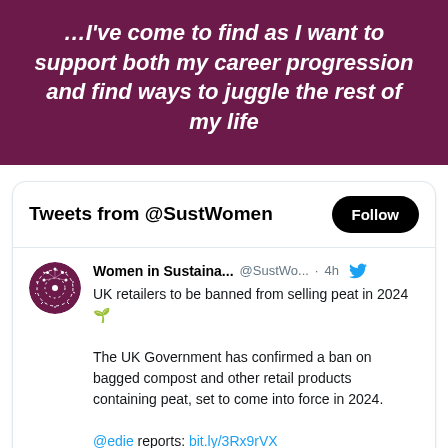I've come to find as I want to support both my career progression and find ways to juggle the rest of my life
Tweets from @SustWomen
Women in Sustaina... @SustWo... · 4h
UK retailers to be banned from selling peat in 2024 🌱

The UK Government has confirmed a ban on bagged compost and other retail products containing peat, set to come into force in 2024.

@edie reports: bit.ly/3Rx9rVX